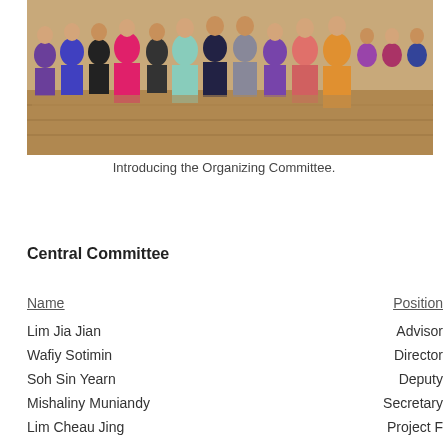[Figure (photo): Group photo of the Organizing Committee, multiple young people dressed in formal/evening wear sitting and standing on a stage with a wooden floor backdrop.]
Introducing the Organizing Committee.
Central Committee
| Name | Position |
| --- | --- |
| Lim Jia Jian | Advisor |
| Wafiy Sotimin | Director |
| Soh Sin Yearn | Deputy |
| Mishaliny Muniandy | Secretary |
| Lim Cheau Jing | Project F |